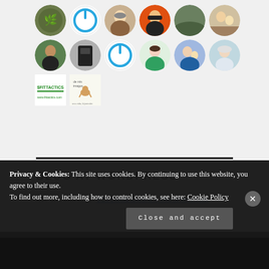[Figure (illustration): Grid of circular avatar profile pictures arranged in two rows of 6, followed by a row of 2 smaller logo images (FitTactics and an animal blog logo)]
BLOG AT WORDPRESS
Use this link to get $25 credit toward a WordPress.com
Privacy & Cookies: This site uses cookies. By continuing to use this website, you agree to their use.
To find out more, including how to control cookies, see here: Cookie Policy
Close and accept